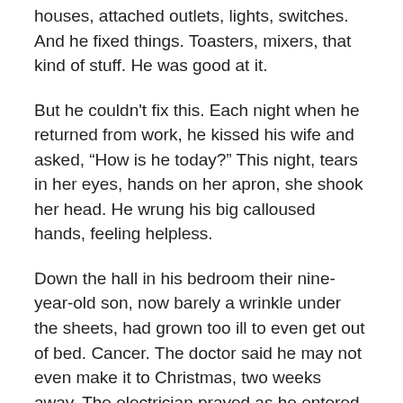houses, attached outlets, lights, switches. And he fixed things. Toasters, mixers, that kind of stuff. He was good at it.
But he couldn't fix this. Each night when he returned from work, he kissed his wife and asked, “How is he today?” This night, tears in her eyes, hands on her apron, she shook her head. He wrung his big calloused hands, feeling helpless.
Down the hall in his bedroom their nine-year-old son, now barely a wrinkle under the sheets, had grown too ill to even get out of bed. Cancer. The doctor said he may not even make it to Christmas, two weeks away. The electrician prayed as he entered his son’s room, “God, let me help my boy.”
The room was dark despite the drapes on the lone window